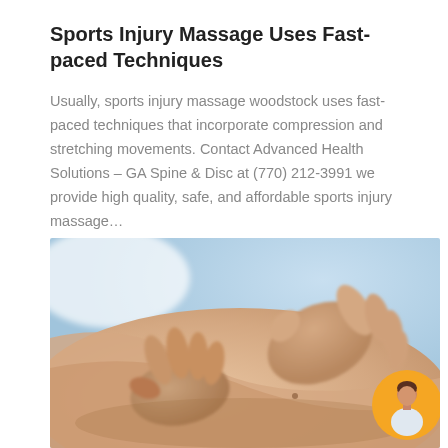Sports Injury Massage Uses Fast-paced Techniques
Usually, sports injury massage woodstock uses fast-paced techniques that incorporate compression and stretching movements. Contact Advanced Health Solutions – GA Spine & Disc at (770) 212-3991 we provide high quality, safe, and affordable sports injury massage…
[Figure (photo): Close-up photo of hands performing a sports injury massage on a person's back/shoulder area, with a blurred blue background.]